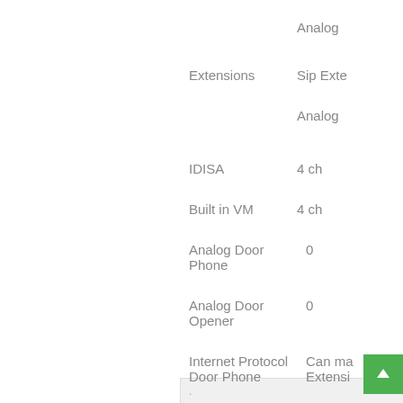| Feature | Value |
| --- | --- |
|  | Analog |
| Extensions | Sip Exte... |
|  | Analog |
| IDISA | 4 ch |
| Built in VM | 4 ch |
| Analog Door Phone | 0 |
| Analog Door Opener | 0 |
| Internet Protocol Door Phone | Can ma... Extensi... |